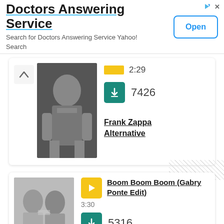[Figure (infographic): Advertisement banner for Doctors Answering Service with Open button]
Doctors Answering Service
Search for Doctors Answering Service Yahoo! Search
[Figure (photo): Black and white photo of a musician playing guitar]
2:29
7426
Frank Zappa Alternative
[Figure (photo): Black and white photo of a man and woman facing each other]
Boom Boom Boom (Gabry Ponte Edit)
3:30
5316
Indaqo
Pop